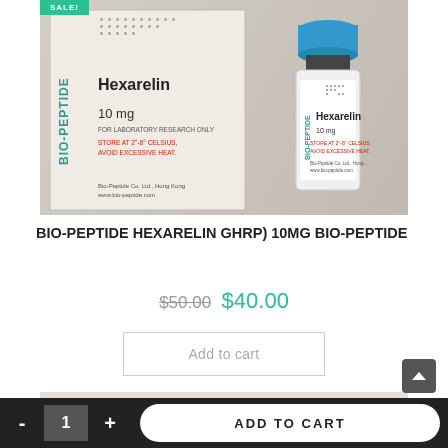[Figure (photo): Product photo of Bio-Peptide Hexarelin 10mg vial and box. The box is white/cream with 'BIO-PEPTIDE' written vertically in teal, 'Hexarelin' in black bold, '10 mg' and 'FOR LABORATORY RESEARCH ONLY' text, red warnings, and Bio-Peptide Co. Ltd., Hong Kong branding. A glass vial with blue cap sits to the right with matching label. Green SALE banner in top left corner.]
BIO-PEPTIDE HEXARELIN GHRP) 10MG BIO-PEPTIDE
$50.00 $40.00
Add to cart
[Figure (photo): Partial product image at bottom, showing a cream/beige colored item on a pink/beige background, partially cropped.]
- 1 + ADD TO CART